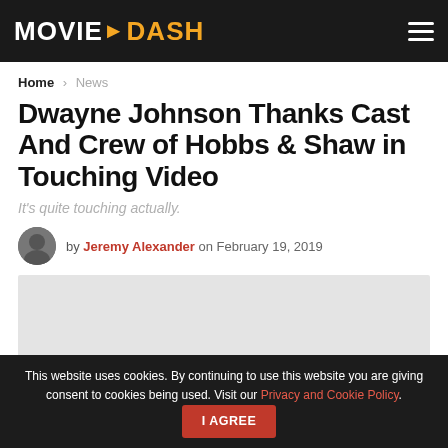MOVIE DASH
Home > News
Dwayne Johnson Thanks Cast And Crew of Hobbs & Shaw in Touching Video
It's quite touching actually.
by Jeremy Alexander on February 19, 2019
[Figure (photo): Gray placeholder image area for article content]
This website uses cookies. By continuing to use this website you are giving consent to cookies being used. Visit our Privacy and Cookie Policy. I Agree